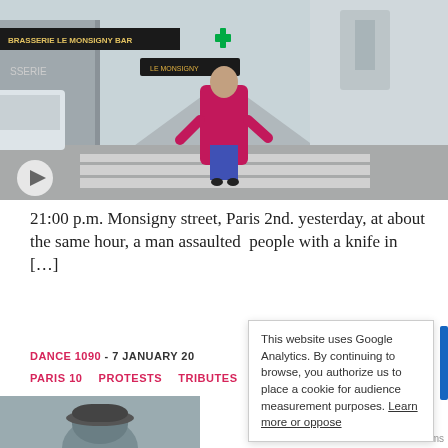[Figure (photo): Street photo of a person in a pink coat and blue wide-leg pants crossing a zebra crossing on Monsigny street, Paris 2nd. Brasserie Le Monsigny sign visible. A play button overlay is in the bottom-left corner.]
21:00 p.m. Monsigny street, Paris 2nd. yesterday, at about the same hour, a man assaulted  people with a knife in […]
DANCE 1090 - 7 JANUARY 20
PARIS 10   PROTESTS   TRIBUTES   A
This website uses Google Analytics. By continuing to browse, you authorize us to place a cookie for audience measurement purposes. Learn more or oppose
[Figure (photo): Partial photo at the bottom showing a person's head with a hat.]